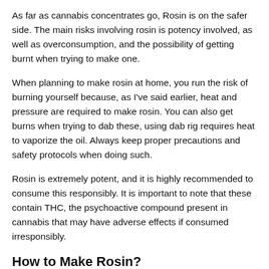As far as cannabis concentrates go, Rosin is on the safer side. The main risks involving rosin is potency involved, as well as overconsumption, and the possibility of getting burnt when trying to make one.
When planning to make rosin at home, you run the risk of burning yourself because, as I've said earlier, heat and pressure are required to make rosin. You can also get burns when trying to dab these, using dab rig requires heat to vaporize the oil. Always keep proper precautions and safety protocols when doing such.
Rosin is extremely potent, and it is highly recommended to consume this responsibly. It is important to note that these contain THC, the psychoactive compound present in cannabis that may have adverse effects if consumed irresponsibly.
How to Make Rosin?
One of the things that make rosin so popular is how easy this product is made. Unlike the Butane Hash Oil method, making rosin can be done at home.